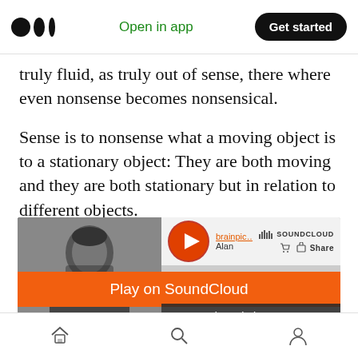Open in app | Get started
truly fluid, as truly out of sense, there where even nonsense becomes nonsensical.
Sense is to nonsense what a moving object is to a stationary object: They are both moving and they are both stationary but in relation to different objects.
[Figure (screenshot): SoundCloud embedded player showing a black-and-white photo of a person on the left, a play button, brainpic... Alan text, SOUNDCLOUD logo, Share button, a full-width orange 'Play on SoundCloud' banner, and a 'Listen in browser' button at the bottom.]
Home | Search | Profile (bottom navigation icons)